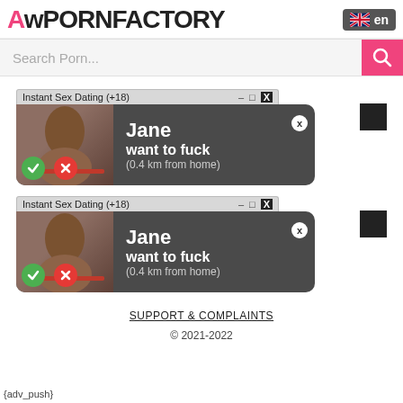A PORN FACTORY
[Figure (screenshot): Search bar with pink search button]
[Figure (screenshot): Notification popup: Instant Sex Dating (+18) - Jane want to fuck (0.4 km from home) with accept/decline buttons]
[Figure (screenshot): Duplicate notification popup: Instant Sex Dating (+18) - Jane want to fuck (0.4 km from home) with accept/decline buttons]
SUPPORT & COMPLAINTS
© 2021-2022
{adv_push}